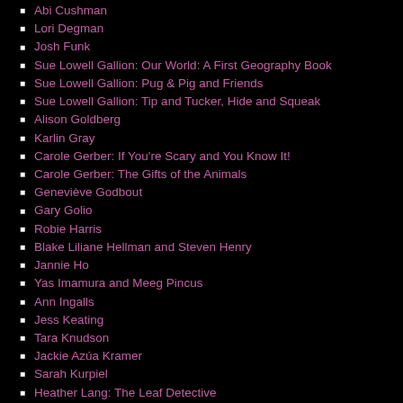Abi Cushman
Lori Degman
Josh Funk
Sue Lowell Gallion: Our World: A First Geography Book
Sue Lowell Gallion: Pug & Pig and Friends
Sue Lowell Gallion: Tip and Tucker, Hide and Squeak
Alison Goldberg
Karlin Gray
Carole Gerber: If You're Scary and You Know It!
Carole Gerber: The Gifts of the Animals
Geneviève Godbout
Gary Golio
Robie Harris
Blake Liliane Hellman and Steven Henry
Jannie Ho
Yas Imamura and Meeg Pincus
Ann Ingalls
Jess Keating
Tara Knudson
Jackie Azúa Kramer
Sarah Kurpiel
Heather Lang: The Leaf Detective
Heather Lang: Queen of the Track
B.J. Lee